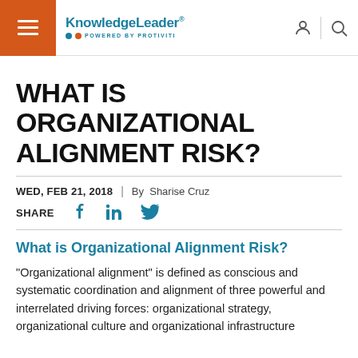KnowledgeLeader® · POWERED BY PROTIVITI
WHAT IS ORGANIZATIONAL ALIGNMENT RISK?
WED, FEB 21, 2018 | By Sharise Cruz
SHARE
What is Organizational Alignment Risk?
"Organizational alignment" is defined as conscious and systematic coordination and alignment of three powerful and interrelated driving forces: organizational strategy, organizational culture and organizational infrastructure